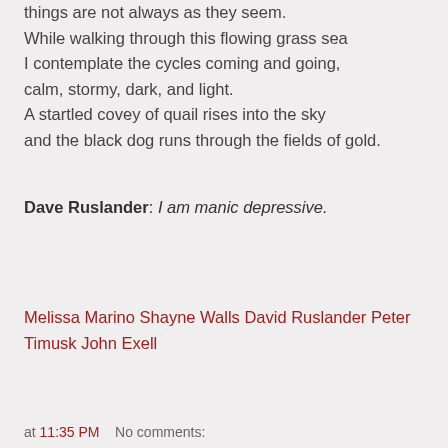things are not always as they seem.
While walking through this flowing grass sea
I contemplate the cycles coming and going,
calm, stormy, dark, and light.
A startled covey of quail rises into the sky
and the black dog runs through the fields of gold.
Dave Ruslander: I am manic depressive.
Melissa Marino Shayne Walls David Ruslander Peter Timusk John Exell
at 11:35 PM    No comments: